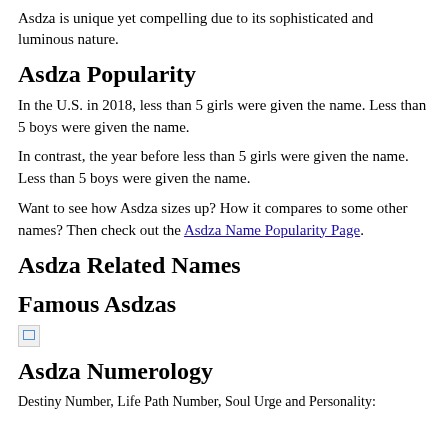Asdza is unique yet compelling due to its sophisticated and luminous nature.
Asdza Popularity
In the U.S. in 2018, less than 5 girls were given the name. Less than 5 boys were given the name.
In contrast, the year before less than 5 girls were given the name. Less than 5 boys were given the name.
Want to see how Asdza sizes up? How it compares to some other names? Then check out the Asdza Name Popularity Page.
Asdza Related Names
Famous Asdzas
[Figure (illustration): Broken image placeholder icon]
Asdza Numerology
Destiny Number, Life Path Number, Soul Urge and Personality: